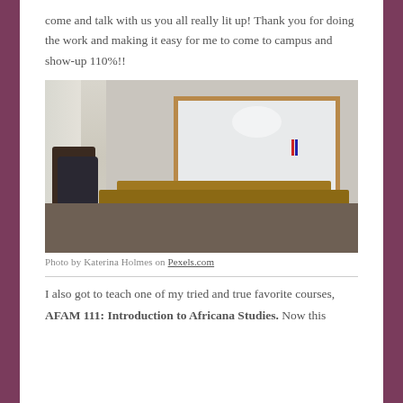come and talk with us you all really lit up! Thank you for doing the work and making it easy for me to come to campus and show-up 110%!!
[Figure (photo): Classroom photo showing student desks and chairs in front of a large whiteboard mounted on a wall, with a window with curtains on the left side. Books and supplies visible on desks.]
Photo by Katerina Holmes on Pexels.com
I also got to teach one of my tried and true favorite courses,
AFAM 111: Introduction to Africana Studies. Now this